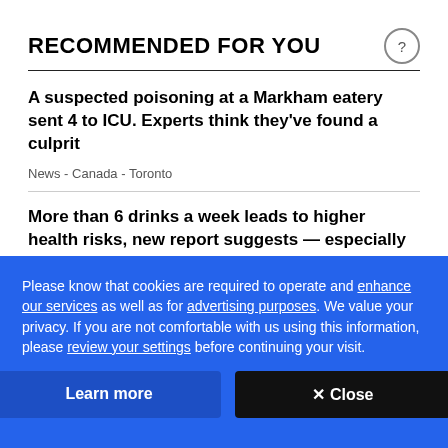RECOMMENDED FOR YOU
A suspected poisoning at a Markham eatery sent 4 to ICU. Experts think they've found a culprit
News  -  Canada  -  Toronto
More than 6 drinks a week leads to higher health risks, new report suggests — especially for women
Stephanie Dubois
Please know that cookies are required to operate and enhance our services as well as for advertising purposes. We value your privacy. If you are not comfortable with us using this information, please review your settings before continuing your visit.